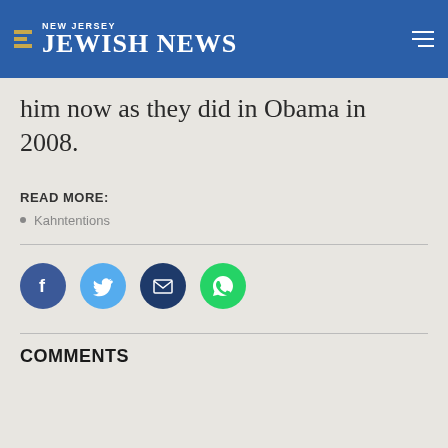NEW JERSEY JEWISH NEWS
him now as they did in Obama in 2008.
READ MORE:
Kahntentions
[Figure (infographic): Social share buttons: Facebook, Twitter, Email, WhatsApp]
COMMENTS